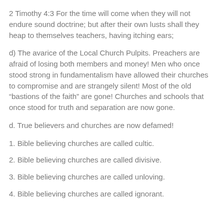2 Timothy 4:3 For the time will come when they will not endure sound doctrine; but after their own lusts shall they heap to themselves teachers, having itching ears;
d) The avarice of the Local Church Pulpits. Preachers are afraid of losing both members and money! Men who once stood strong in fundamentalism have allowed their churches to compromise and are strangely silent! Most of the old “bastions of the faith” are gone! Churches and schools that once stood for truth and separation are now gone.
d. True believers and churches are now defamed!
1. Bible believing churches are called cultic.
2. Bible believing churches are called divisive.
3. Bible believing churches are called unloving.
4. Bible believing churches are called ignorant.